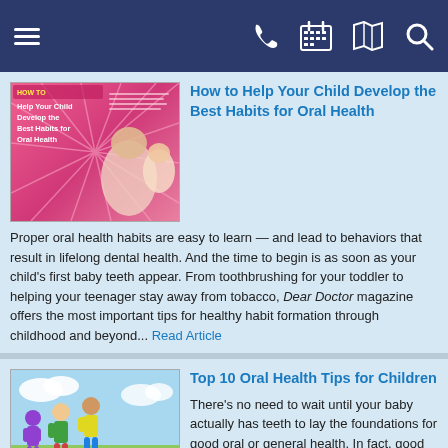Navigation bar with menu, phone, calendar, map, and search icons
[Figure (screenshot): Thumbnail of article showing a mother and child with pink magazine cover text: HOW TO Help Your Child Develop the Best Habits for Oral Health]
How to Help Your Child Develop the Best Habits for Oral Health
Proper oral health habits are easy to learn — and lead to behaviors that result in lifelong dental health. And the time to begin is as soon as your child's first baby teeth appear. From toothbrushing for your toddler to helping your teenager stay away from tobacco, Dear Doctor magazine offers the most important tips for healthy habit formation through childhood and beyond... Read Article
[Figure (screenshot): Thumbnail of infographic showing cartoon children holding a banner that reads: Top 10 Oral Health Tips For Children, with a list below on a white background]
Top 10 Oral Health Tips for Children
There's no need to wait until your baby actually has teeth to lay the foundations for good oral or general health. In fact, good nutrition and oral